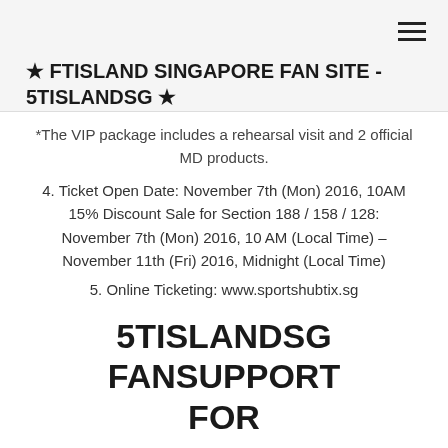★ FTISLAND SINGAPORE FAN SITE - 5TISLANDSG ★
*The VIP package includes a rehearsal visit and 2 official MD products.
4. Ticket Open Date: November 7th (Mon) 2016, 10AM
15% Discount Sale for Section 188 / 158 / 128: November 7th (Mon) 2016, 10 AM (Local Time) – November 11th (Fri) 2016, Midnight (Local Time)
5. Online Ticketing: www.sportshubtix.sg
5TISLANDSG FANSUPPORT FOR